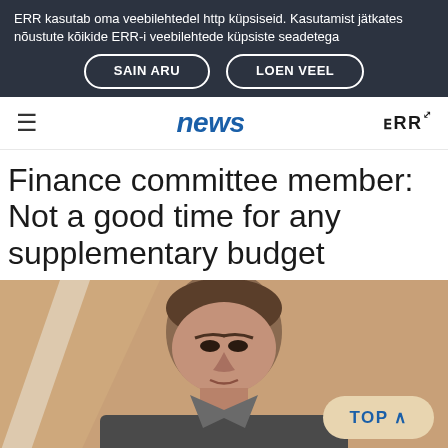ERR kasutab oma veebilehtedel http küpsiseid. Kasutamist jätkates nõustute kõikide ERR-i veebilehtede küpsiste seadetega
SAIN ARU
LOEN VEEL
news  ERR
Finance committee member: Not a good time for any supplementary budget
[Figure (photo): A man in a suit photographed from below against a beige/tan background, cropped to show head and upper shoulders]